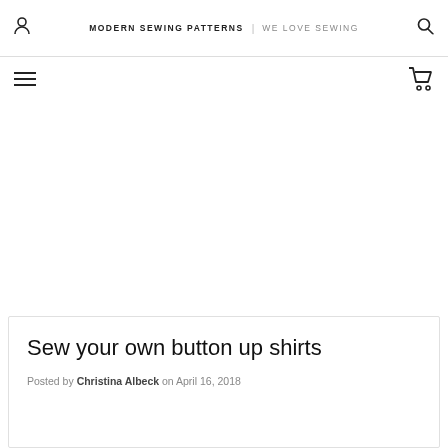MODERN SEWING PATTERNS | WE LOVE SEWING
Sew your own button up shirts
Posted by Christina Albeck on April 16, 2018